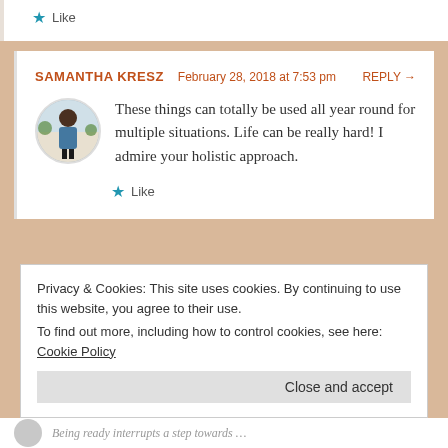Like
SAMANTHA KRESZ  February 28, 2018 at 7:53 pm  REPLY →
These things can totally be used all year round for multiple situations. Life can be really hard! I admire your holistic approach.
Like
Privacy & Cookies: This site uses cookies. By continuing to use this website, you agree to their use. To find out more, including how to control cookies, see here: Cookie Policy
Close and accept